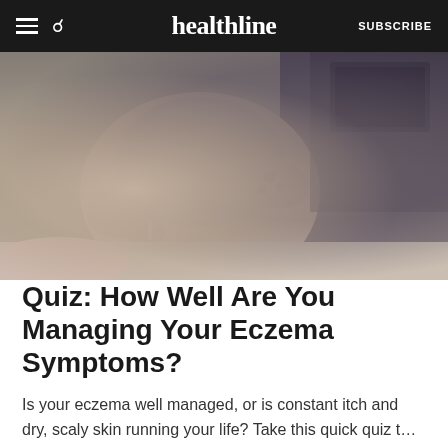healthline  SUBSCRIBE
[Figure (photo): A woman sitting on a bed, scratching or touching her arm which shows visible skin irritation/eczema. She is wearing a light-colored sleeveless top. The setting is a bedroom with muted colors.]
Quiz: How Well Are You Managing Your Eczema Symptoms?
Is your eczema well managed, or is constant itch and dry, scaly skin running your life? Take this quick quiz t…
READ MORE